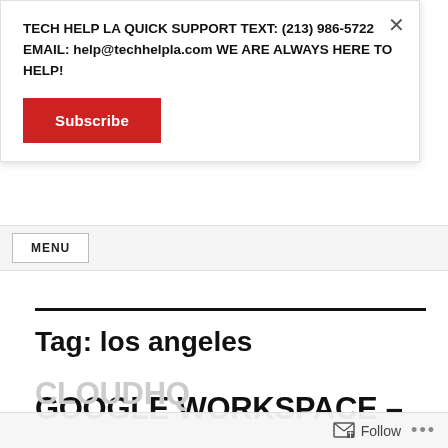TECH HELP LA QUICK SUPPORT TEXT: (213) 986-5722 EMAIL: help@techhelpla.com WE ARE ALWAYS HERE TO HELP!
Subscribe
MENU
Tag: los angeles
GOOGLE WORKSPACE –
CLOUDHQ
Follow